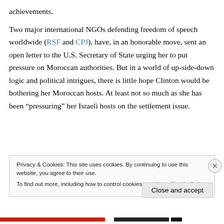achievements.
Two major international NGOs defending freedom of speech worldwide (RSF and CPJ), have, in an honorable move, sent an open letter to the U.S. Secretary of State urging her to put pressure on Moroccan authorities. But in a world of up-side-down logic and political intrigues, there is little hope Clinton would be bothering her Moroccan hosts. At least not so much as she has been “pressuring” her Israeli hosts on the settlement issue.
Privacy & Cookies: This site uses cookies. By continuing to use this website, you agree to their use.
To find out more, including how to control cookies, see here: Cookie Policy
Close and accept